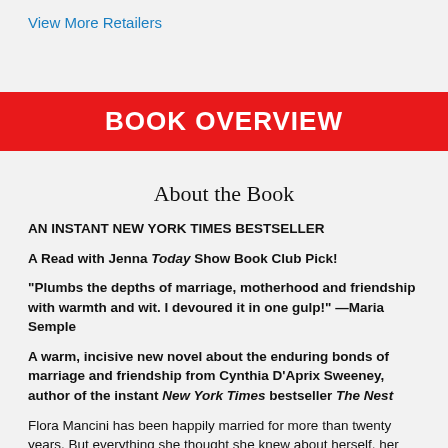View More Retailers
BOOK OVERVIEW
About the Book
AN INSTANT NEW YORK TIMES BESTSELLER
A Read with Jenna Today Show Book Club Pick!
"Plumbs the depths of marriage, motherhood and friendship with warmth and wit. I devoured it in one gulp!" —Maria Semple
A warm, incisive new novel about the enduring bonds of marriage and friendship from Cynthia D'Aprix Sweeney, author of the instant New York Times bestseller The Nest
Flora Mancini has been happily married for more than twenty years. But everything she thought she knew about herself, her marriage, and her relationship with her best friend, Margot, is upended when she stumbles upon an envelope containing her